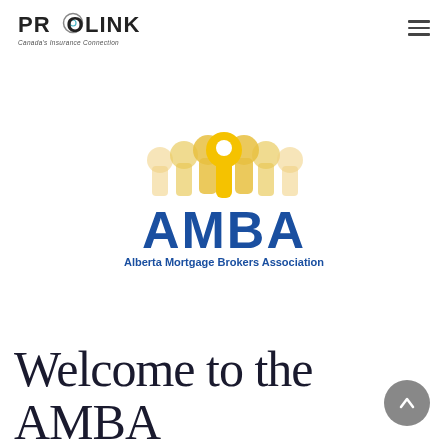PROLINK | Canada's Insurance Connection
[Figure (logo): AMBA - Alberta Mortgage Brokers Association logo. Features golden keyhole shapes arranged in a group (people silhouettes), with bold blue 'AMBA' text and subtitle 'Alberta Mortgage Brokers Association']
Welcome to the AMBA